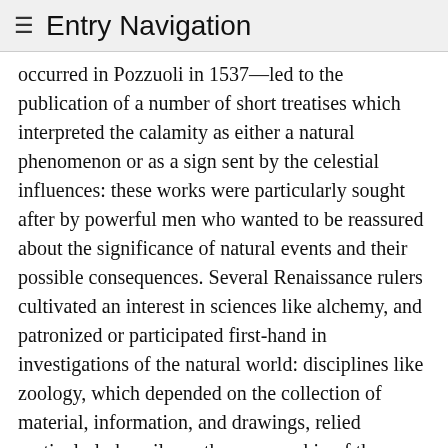≡ Entry Navigation
occurred in Pozzuoli in 1537—led to the publication of a number of short treatises which interpreted the calamity as either a natural phenomenon or as a sign sent by the celestial influences: these works were particularly sought after by powerful men who wanted to be reassured about the significance of natural events and their possible consequences. Several Renaissance rulers cultivated an interest in sciences like alchemy, and patronized or participated first-hand in investigations of the natural world: disciplines like zoology, which depended on the collection of material, information, and drawings, relied particularly heavily on the sponsorship of the wealthy and powerful. The zoological and botanical works and catalogues which, though composed by university professors, started from the 1540s to circulate around Europe, were often addressed to or sponsored by rulers who had the means to employ artists and other specialists needed to complete these costly volumes. Drawings were not simply ornaments to a text, but a necessity for